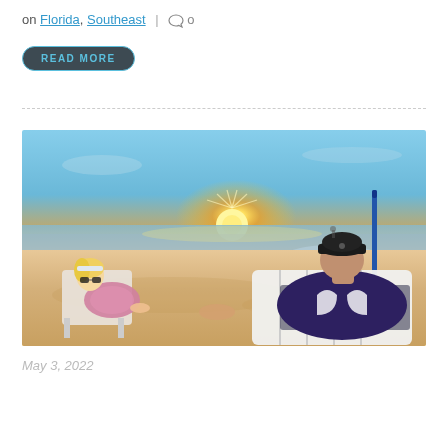on Florida, Southeast | 0
READ MORE
[Figure (photo): A couple sitting in beach chairs holding hands watching a sunset on a white sandy beach. The woman on the left wears sunglasses and a headband; the man on the right wears a dark baseball cap and purple shirt. A snorkel is visible on the right. The sky is golden-orange with the sun near the horizon over the ocean.]
May 3, 2022